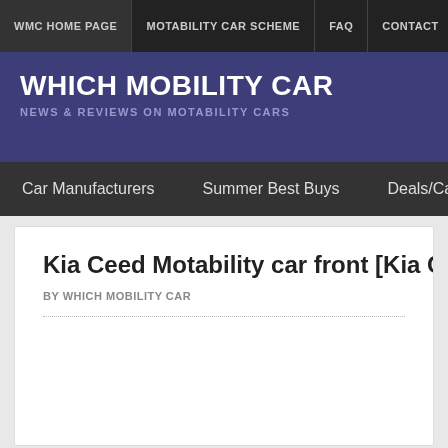WMC HOME PAGE | MOTABILITY CAR SCHEME | FAQ | CONTACT | LINKS | CA...
WHICH MOBILITY CAR
NEWS & REVIEWS ON MOTABILITY CARS
Car Manufacturers   Summer Best Buys   Deals/Cashback   Top...
Kia Ceed Motability car front [Kia Cee'd]
BY WHICH MOBILITY CAR
[Figure (photo): Empty white image placeholder area below article byline]